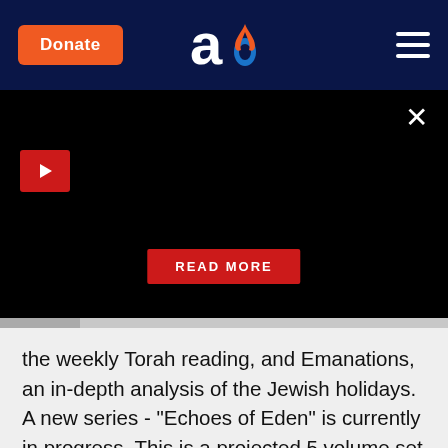[Figure (logo): Aish.com logo — stylized 'ao' letters with flame, in white and orange, on dark navy navigation bar. Also contains orange Donate button and hamburger menu icon.]
[Figure (screenshot): Black media player area with red play button at top-left, close X at top-right, and red READ MORE button centered near bottom.]
the weekly Torah reading, and Emanations, an in-depth analysis of the Jewish holidays. A new series - "Echoes of Eden" is currently in progress. This is a projected 5 volume set to be published by the OU and Gefen Publishing. The first three volumes are in print and the fourth is in production. Drawing upon the vast reservoir of rabbinic literature – from Talmud to Midrash, from Zohar to the chassidic masters – Rabbi Kahn combines the